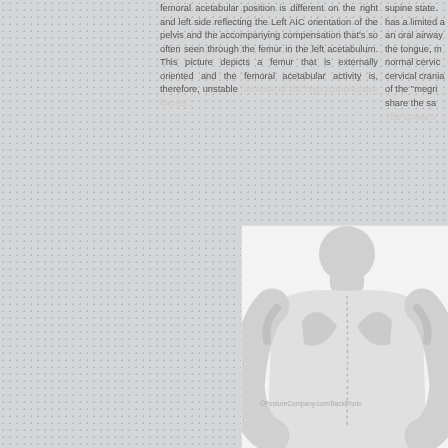femoral acetabular position is different on the right and left side reflecting the Left AIC orientation of the pelvis and the accompanying compensation that's so often seen through the femur in the left acetabulum. This picture depicts a femur that is externally oriented and the femoral acetabular activity is, therefore, unstable because of the high compressive forces...
supine state. has a limited a an oral airway the tongue, m normal cervic cervical crania of the "megri share the sa The Greek's...
[Figure (screenshot): Dropdown selector showing '8x10 - $35' with a down arrow, and a green 'BUY NOW' button below it]
[Figure (photo): Black and white photograph showing the back/posterior view of a human upper torso, showing shoulder blades and back muscles]
[Figure (photo): Partial black and white photograph on the right side showing a human figure, partially cropped]